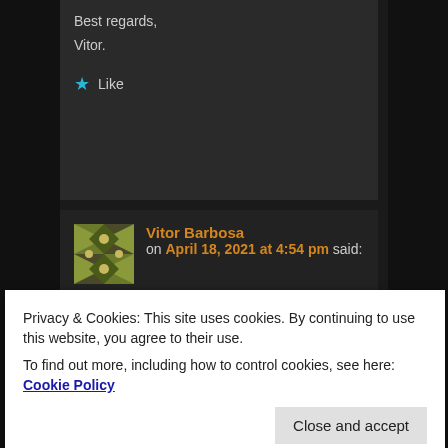Best regards,
Vitor.
★ Like
Vitor Barbosa on April 18, 2021 at 4:54 pm said:
Dan,
Another doubt crossed my mind.
Privacy & Cookies: This site uses cookies. By continuing to use this website, you agree to their use.
To find out more, including how to control cookies, see here: Cookie Policy
Close and accept
sine? These topologies are